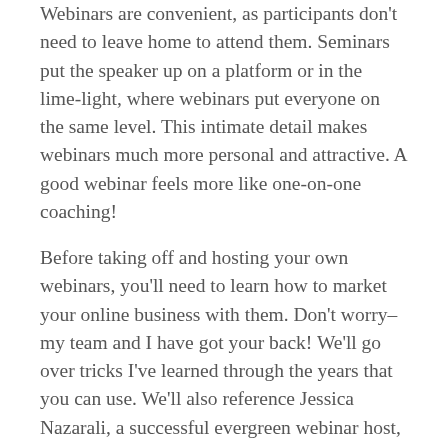Webinars are convenient, as participants don't need to leave home to attend them. Seminars put the speaker up on a platform or in the lime-light, where webinars put everyone on the same level. This intimate detail makes webinars much more personal and attractive. A good webinar feels more like one-on-one coaching!
Before taking off and hosting your own webinars, you'll need to learn how to market your online business with them. Don't worry– my team and I have got your back! We'll go over tricks I've learned through the years that you can use. We'll also reference Jessica Nazarali, a successful evergreen webinar host, who I recently had a fantastic interview with.
Pay Attention to Details
A big part of learning how to market your